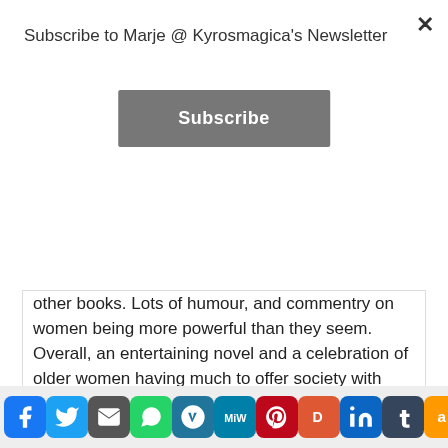Subscribe to Marje @ Kyrosmagica's Newsletter
Subscribe
other books. Lots of humour, and commentry on women being more powerful than they seem. Overall, an entertaining novel and a celebration of older women having much to offer society with Olivia's character demonstrating many hidden aspects, talents and much to admire. I loved it. Light-hearted but thoughtful too.
Advertisements
[Figure (screenshot): DuckDuckGo advertisement banner: orange background with text 'Search, browse, and email with more privacy. All in One Free App' and a phone graphic with DuckDuckGo logo]
[Figure (infographic): Social share bar with icons: Facebook, Twitter, Email, WhatsApp, WordPress, MeWe, Pinterest, DuckDuckGo, LinkedIn, Tumblr, Amazon, AddToAny]